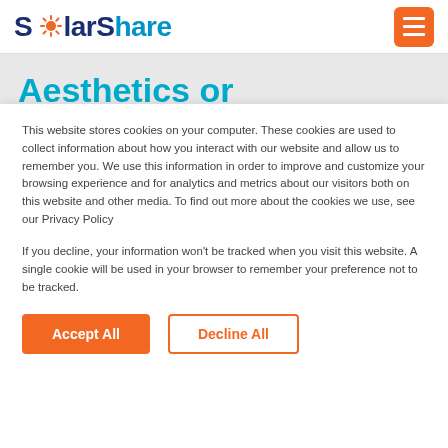SolarShare
Aesthetics or performance?
This website stores cookies on your computer. These cookies are used to collect information about how you interact with our website and allow us to remember you. We use this information in order to improve and customize your browsing experience and for analytics and metrics about our visitors both on this website and other media. To find out more about the cookies we use, see our Privacy Policy
If you decline, your information won't be tracked when you visit this website. A single cookie will be used in your browser to remember your preference not to be tracked.